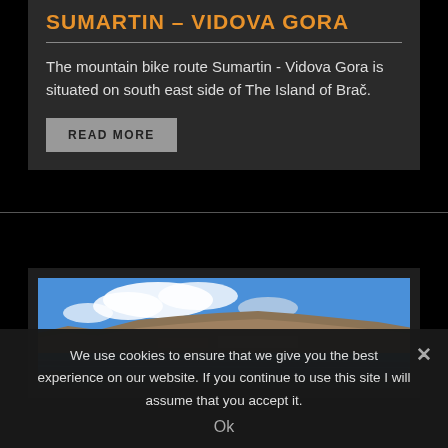SUMARTIN – VIDOVA GORA
The mountain bike route Sumartin - Vidova Gora is situated on south east side of The Island of Brač.
READ MORE
[Figure (photo): Panoramic photo of a mountainous island with blue sea in the foreground and mountains with settlements visible in the background under a partly cloudy blue sky.]
We use cookies to ensure that we give you the best experience on our website. If you continue to use this site I will assume that you accept it.
Ok